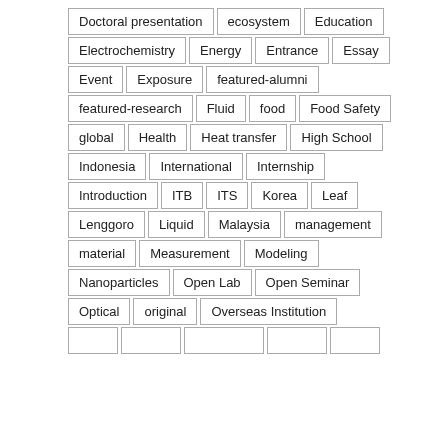Doctoral presentation
ecosystem
Education
Electrochemistry
Energy
Entrance
Essay
Event
Exposure
featured-alumni
featured-research
Fluid
food
Food Safety
global
Health
Heat transfer
High School
Indonesia
International
Internship
Introduction
ITB
ITS
Korea
Leaf
Lenggoro
Liquid
Malaysia
management
material
Measurement
Modeling
Nanoparticles
Open Lab
Open Seminar
Optical
original
Overseas Institution